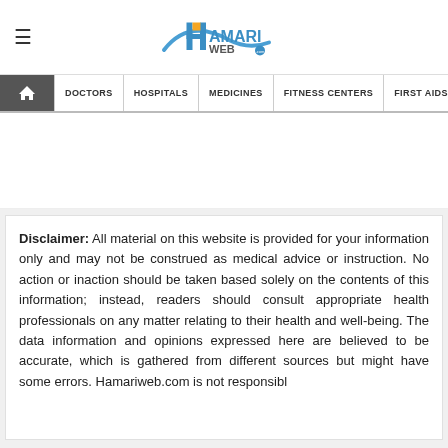HamariWeb (logo)
≡ (hamburger menu)
DOCTORS | HOSPITALS | MEDICINES | FITNESS CENTERS | FIRST AIDS | BLOOD
Disclaimer: All material on this website is provided for your information only and may not be construed as medical advice or instruction. No action or inaction should be taken based solely on the contents of this information; instead, readers should consult appropriate health professionals on any matter relating to their health and well-being. The data information and opinions expressed here are believed to be accurate, which is gathered from different sources but might have some errors. Hamariweb.com is not responsibl...